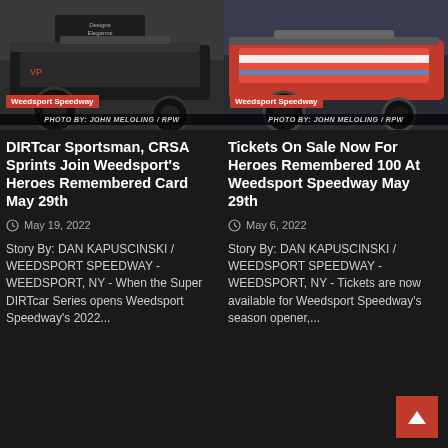[Figure (photo): Racing car photo at Weedsport Speedway, photo credit to John Meloling / RPW]
[Figure (photo): Racing car photo at Weedsport Speedway, photo credit to John Meloling / RPW]
DIRTcar Sportsman, CRSA Sprints Join Weedsport's Heroes Remembered Card May 29th
May 19, 2022
Story By: DAN KAPUSCINSKI / WEEDSPORT SPEEDWAY - WEEDSPORT, NY - When the Super DIRTcar Series opens Weedsport Speedway's 2022...
Tickets On Sale Now For Heroes Remembered 100 At Weedsport Speedway May 29th
May 6, 2022
Story By: DAN KAPUSCINSKI / WEEDSPORT SPEEDWAY - WEEDSPORT, NY - Tickets are now available for Weedsport Speedway's season opener,...